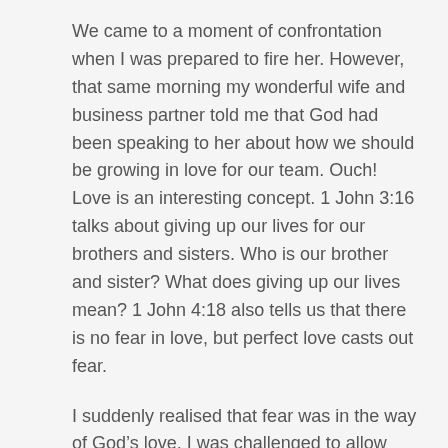We came to a moment of confrontation when I was prepared to fire her. However, that same morning my wonderful wife and business partner told me that God had been speaking to her about how we should be growing in love for our team. Ouch! Love is an interesting concept. 1 John 3:16 talks about giving up our lives for our brothers and sisters. Who is our brother and sister? What does giving up our lives mean? 1 John 4:18 also tells us that there is no fear in love, but perfect love casts out fear.
I suddenly realised that fear was in the way of God’s love. I was challenged to allow God's love to remove my own fear. Only then could I really show love to Mary. Only then can I help Mary start to overcome her fears and the destructive force they were having on colleagues. It starts with me!